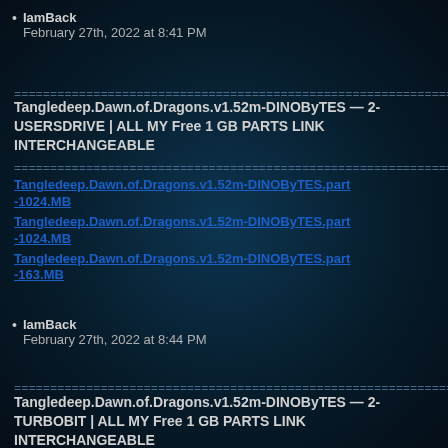IamBack
February 27th, 2022 at 8:41 PM
================================================================
Tangledeep.Dawn.of.Dragons.v1.52m-DINOByTES — 2-USERSDRIVE | ALL MY Free 1 GB PARTS LINK INTERCHANGEABLE
================================================================
Tangledeep.Dawn.of.Dragons.v1.52m-DINOByTES.part-1024.MB
Tangledeep.Dawn.of.Dragons.v1.52m-DINOByTES.part-1024.MB
Tangledeep.Dawn.of.Dragons.v1.52m-DINOByTES.part-163.MB
IamBack
February 27th, 2022 at 8:44 PM
================================================================
Tangledeep.Dawn.of.Dragons.v1.52m-DINOByTES — 2-TURBOBIT | ALL MY Free 1 GB PARTS LINK INTERCHANGEABLE